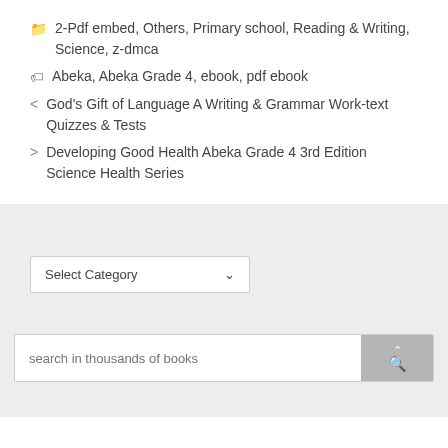2-Pdf embed, Others, Primary school, Reading & Writing, Science, z-dmca
Abeka, Abeka Grade 4, ebook, pdf ebook
< God's Gift of Language A Writing & Grammar Work-text Quizzes & Tests
> Developing Good Health Abeka Grade 4 3rd Edition Science Health Series
Select Category
search in thousands of books